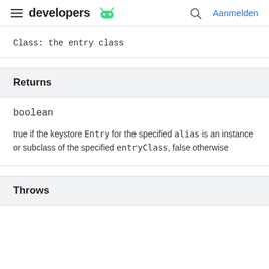developers | Aanmelden
Class: the entry class
Returns
boolean
true if the keystore Entry for the specified alias is an instance or subclass of the specified entryClass, false otherwise
Throws